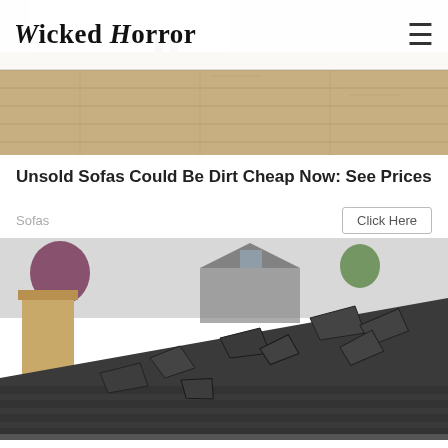Wicked Horror
[Figure (photo): Wood floor interior photo used as ad image background]
Unsold Sofas Could Be Dirt Cheap Now: See Prices
Sofas
[Figure (photo): Damaged roof with broken and lifted shingles, chimney visible on left, trees and houses in background]